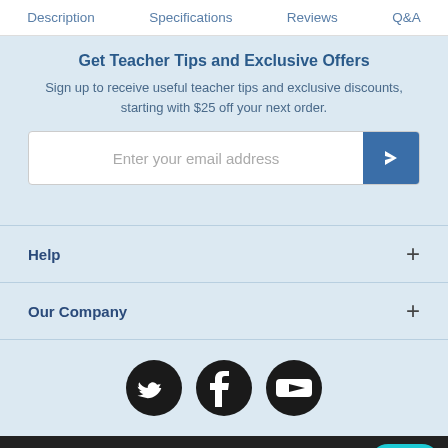Description | Specifications | Reviews | Q&A
Get Teacher Tips and Exclusive Offers
Sign up to receive useful teacher tips and exclusive discounts, starting with $25 off your next order.
Help
Our Company
[Figure (infographic): Social media icons: Twitter (bird), Facebook (f), YouTube (play button)]
We use cookies to provide you with a great user experience. By using our site, you accept our use of cookies. You can review our cookie and privacy policy here.